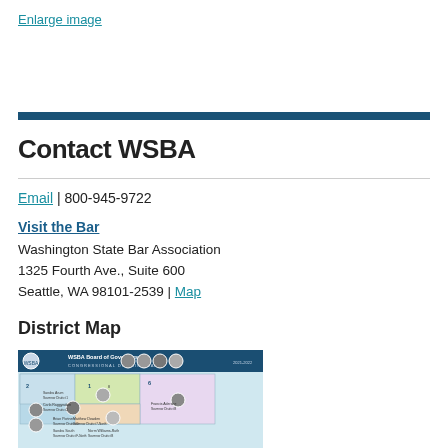Enlarge image
Contact WSBA
Email | 800-945-9722
Visit the Bar
Washington State Bar Association
1325 Fourth Ave., Suite 600
Seattle, WA 98101-2539 | Map
District Map
[Figure (map): WSBA Board of Governors Congressional District Map showing Washington State districts with photos of representatives]